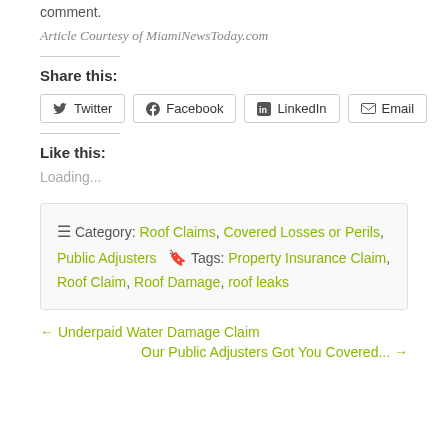comment.
Article Courtesy of MiamiNewsToday.com
Share this:
Twitter  Facebook  LinkedIn  Email
Like this:
Loading...
Category: Roof Claims, Covered Losses or Perils, Public Adjusters  Tags: Property Insurance Claim, Roof Claim, Roof Damage, roof leaks
← Underpaid Water Damage Claim
Our Public Adjusters Got You Covered... →